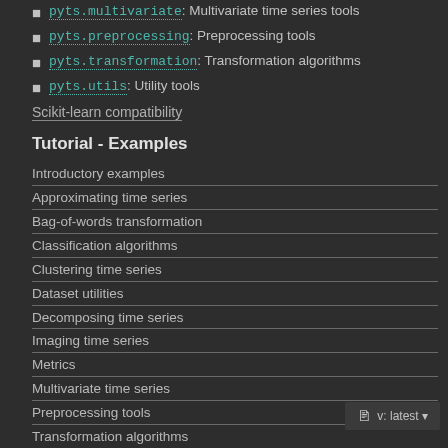pyts.multivariate: Multivariate time series tools
pyts.preprocessing: Preprocessing tools
pyts.transformation: Transformation algorithms
pyts.utils: Utility tools
Scikit-learn compatibility
Tutorial - Examples
Introductory examples
Approximating time series
Bag-of-words transformation
Classification algorithms
Clustering time series
Dataset utilities
Decomposing time series
Imaging time series
Metrics
Multivariate time series
Preprocessing tools
Transformation algorithms